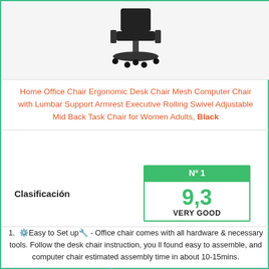[Figure (photo): Office chair product image on light gray background]
Home Office Chair Ergonomic Desk Chair Mesh Computer Chair with Lumbar Support Armrest Executive Rolling Swivel Adjustable Mid Back Task Chair for Women Adults, Black
| Clasificación | Nº 1 / 9,3 VERY GOOD |
| --- | --- |
🔧Easy to Set up🔧 - Office chair comes with all hardware & necessary tools. Follow the desk chair instruction, you ll found easy to assemble, and computer chair estimated assembly time in about 10-15mins.
🔧Soft & Comfort Seat🔧 - Desk chair using high-density sponge cushion, more flexible, office